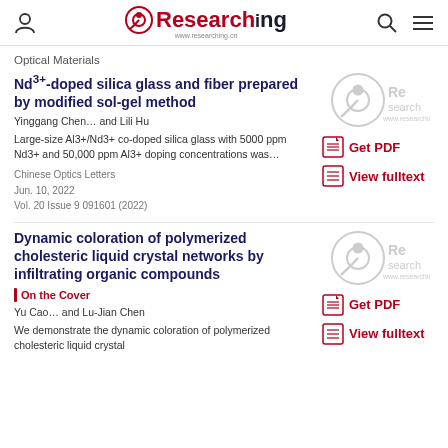Researching — www.researching.cn
Optical Materials
Nd³⁺-doped silica glass and fiber prepared by modified sol-gel method
Yinggang Chen… and Lili Hu
Large-size Al3+/Nd3+ co-doped silica glass with 5000 ppm Nd3+ and 50,000 ppm Al3+ doping concentrations was…
Chinese Optics Letters
Jun. 10, 2022
Vol. 20 Issue 9 091601 (2022)
Dynamic coloration of polymerized cholesteric liquid crystal networks by infiltrating organic compounds
On the Cover
Yu Cao… and Lu-Jian Chen
We demonstrate the dynamic coloration of polymerized cholesteric liquid crystal